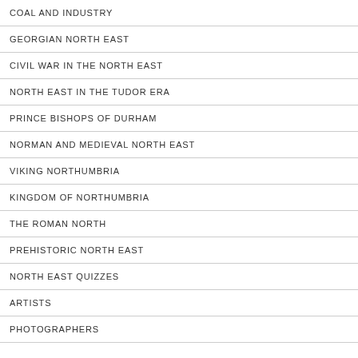COAL AND INDUSTRY
GEORGIAN NORTH EAST
CIVIL WAR IN THE NORTH EAST
NORTH EAST IN THE TUDOR ERA
PRINCE BISHOPS OF DURHAM
NORMAN AND MEDIEVAL NORTH EAST
VIKING NORTHUMBRIA
KINGDOM OF NORTHUMBRIA
THE ROMAN NORTH
PREHISTORIC NORTH EAST
NORTH EAST QUIZZES
ARTISTS
PHOTOGRAPHERS